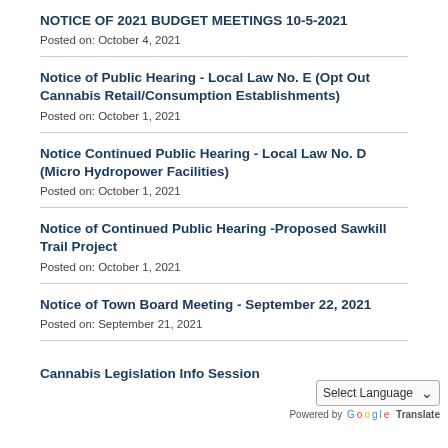NOTICE OF 2021 BUDGET MEETINGS 10-5-2021
Posted on: October 4, 2021
Notice of Public Hearing - Local Law No. E (Opt Out Cannabis Retail/Consumption Establishments)
Posted on: October 1, 2021
Notice Continued Public Hearing - Local Law No. D (Micro Hydropower Facilities)
Posted on: October 1, 2021
Notice of Continued Public Hearing -Proposed Sawkill Trail Project
Posted on: October 1, 2021
Notice of Town Board Meeting - September 22, 2021
Posted on: September 21, 2021
Cannabis Legislation Info Session